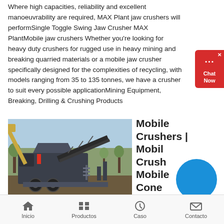Where high capacities, reliability and excellent manoeuvrability are required, MAX Plant jaw crushers will performSingle Toggle Swing Jaw Crusher MAX PlantMobile jaw crushers Whether you're looking for heavy duty crushers for rugged use in heavy mining and breaking quarried materials or a mobile jaw crusher specifically designed for the complexities of recycling, with models ranging from 35 to 135 tonnes, we have a crusher to suit every possible applicationMining Equipment, Breaking, Drilling & Crushing Products
[Figure (photo): A mobile jaw crusher machine on a wheeled trailer in an outdoor quarry setting, with trees and blue sky in the background. The machine is dark grey/black with a conveyor belt.]
Mobile Crushers | Mobile Crushers Mobile Cone Crusher
Inicio   Productos   Caso   Contacto